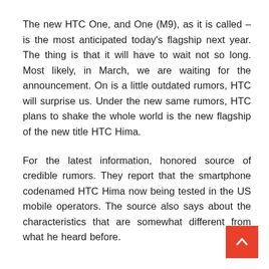The new HTC One, and One (M9), as it is called – is the most anticipated today's flagship next year. The thing is that it will have to wait not so long. Most likely, in March, we are waiting for the announcement. On is a little outdated rumors, HTC will surprise us. Under the new same rumors, HTC plans to shake the whole world is the new flagship of the new title HTC Hima.
For the latest information, honored source of credible rumors. They report that the smartphone codenamed HTC Hima now being tested in the US mobile operators. The source also says about the characteristics that are somewhat different from what he heard before.